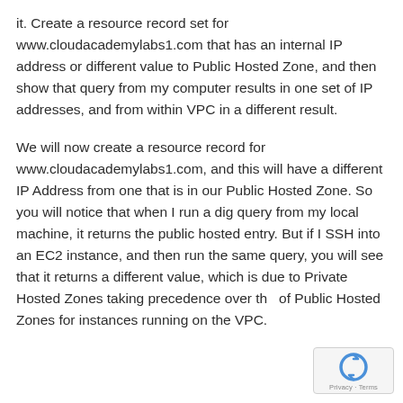it. Create a resource record set for www.cloudacademylabs1.com that has an internal IP address or different value to Public Hosted Zone, and then show that query from my computer results in one set of IP addresses, and from within VPC in a different result.
We will now create a resource record for www.cloudacademylabs1.com, and this will have a different IP Address from one that is in our Public Hosted Zone. So you will notice that when I run a dig query from my local machine, it returns the public hosted entry. But if I SSH into an EC2 instance, and then run the same query, you will see that it returns a different value, which is due to Private Hosted Zones taking precedence over the of Public Hosted Zones for instances running on the VPC.